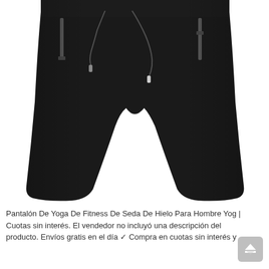[Figure (photo): Black men's athletic/yoga shorts with drawstring waistband, gray zipper pockets on both sides, displayed on white background.]
Pantalón De Yoga De Fitness De Seda De Hielo Para Hombre Yog | Cuotas sin interés. El vendedor no incluyó una descripción del producto. Envíos gratis en el día ✓ Compra en cuotas sin interés y